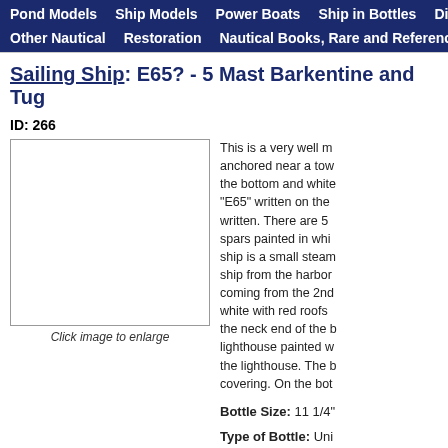Pond Models | Ship Models | Power Boats | Ship in Bottles | Dioramas | Na | Other Nautical | Restoration | Nautical Books, Rare and Reference
Sailing Ship: E65? - 5 Mast Barkentine and Tug
ID: 266
[Figure (photo): Image placeholder with 'Click image to enlarge' caption]
This is a very well m... anchored near a tow... the bottom and white... "E65" written on the... written. There are 5... spars painted in whi... ship is a small steam... ship from the harbor... coming from the 2nd... white with red roofs... the neck end of the b... lighthouse painted w... the lighthouse. The b... covering. On the bot...
Bottle Size: 11 1/4"
Type of Bottle: Uni...
Condition: Excellen...